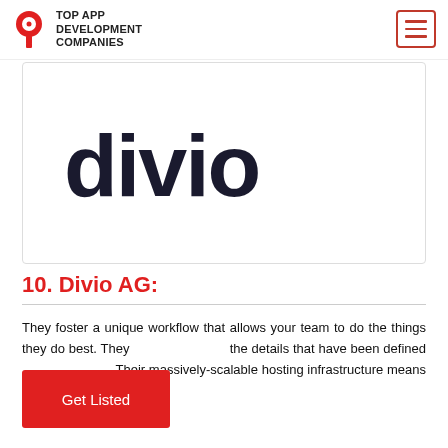TOP APP DEVELOPMENT COMPANIES
[Figure (logo): Divio company logo in dark/black text on white background inside a bordered box]
10. Divio AG:
They foster a unique workflow that allows your team to do the things they do best. They the details that have been defined Their massively-scalable hosting infrastructure means that your sites won't cut